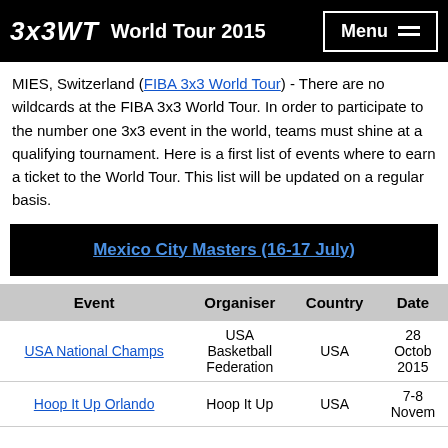3x3WT World Tour 2015
MIES, Switzerland (FIBA 3x3 World Tour) - There are no wildcards at the FIBA 3x3 World Tour. In order to participate to the number one 3x3 event in the world, teams must shine at a qualifying tournament. Here is a first list of events where to earn a ticket to the World Tour. This list will be updated on a regular basis.
Mexico City Masters (16-17 July)
| Event | Organiser | Country | Date |
| --- | --- | --- | --- |
| USA National Champs | USA Basketball Federation | USA | 28 October 2015 |
| Hoop It Up Orlando | Hoop It Up | USA | 7-8 November |